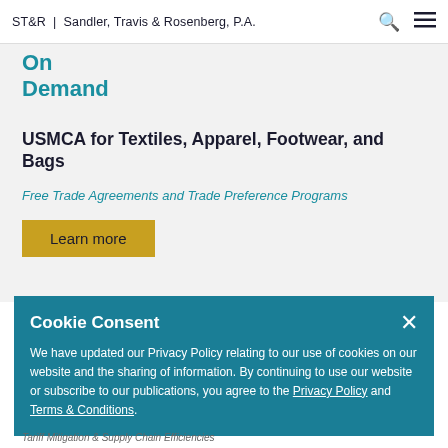ST&R | Sandler, Travis & Rosenberg, P.A.
On
Demand
USMCA for Textiles, Apparel, Footwear, and Bags
Free Trade Agreements and Trade Preference Programs
Learn more
Cookie Consent
We have updated our Privacy Policy relating to our use of cookies on our website and the sharing of information. By continuing to use our website or subscribe to our publications, you agree to the Privacy Policy and Terms & Conditions.
Tariff Mitigation & Supply Chain Efficiencies